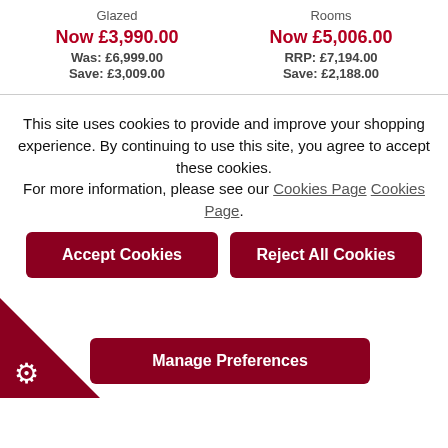Glazed
Now £3,990.00
Was: £6,999.00
Save: £3,009.00
Rooms
Now £5,006.00
RRP: £7,194.00
Save: £2,188.00
This site uses cookies to provide and improve your shopping experience. By continuing to use this site, you agree to accept these cookies. For more information, please see our Cookies Page Cookies Page.
Accept Cookies
Reject All Cookies
Manage Preferences